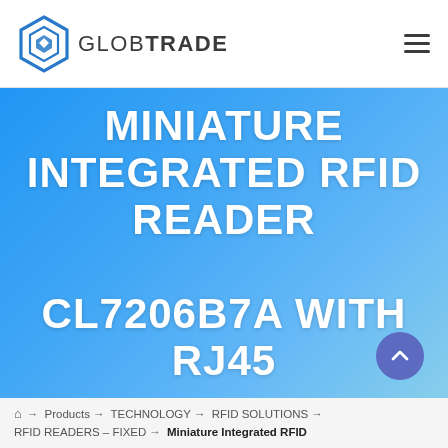[Figure (logo): Globtrade logo: blue hexagonal layered icon with 'GLOB' in dark and 'TRADE' in dark bold text]
MINIATURE INTEGRATED RFID READER CL7206B7A WITH RJ45
🏠 → Products → TECHNOLOGY → RFID SOLUTIONS → RFID READERS – FIXED → Miniature Integrated RFID